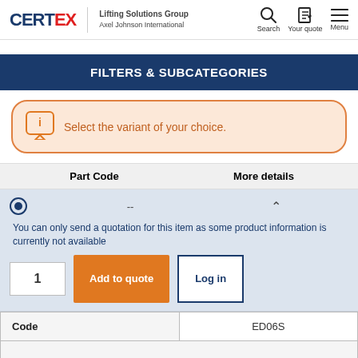[Figure (logo): CERTEX Lifting Solutions Group, Axel Johnson International logo with navigation icons for Search, Your quote, and Menu]
FILTERS & SUBCATEGORIES
Select the variant of your choice.
| Part Code | More details |
| --- | --- |
| -- | ^ |
| You can only send a quotation for this item as some product information is currently not available |  |
| 1 | Add to quote | Log in |  |
| Code | ED06S |
| --- | --- |